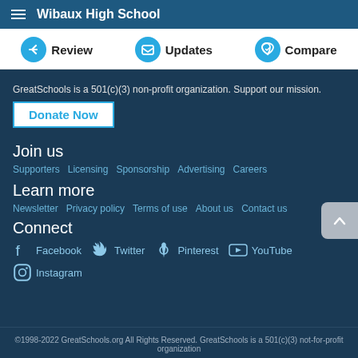Wibaux High School
Review   Updates   Compare
GreatSchools is a 501(c)(3) non-profit organization. Support our mission.
Donate Now
Join us
Supporters   Licensing   Sponsorship   Advertising   Careers
Learn more
Newsletter   Privacy policy   Terms of use   About us   Contact us
Connect
Facebook   Twitter   Pinterest   YouTube   Instagram
©1998-2022 GreatSchools.org All Rights Reserved. GreatSchools is a 501(c)(3) not-for-profit organization